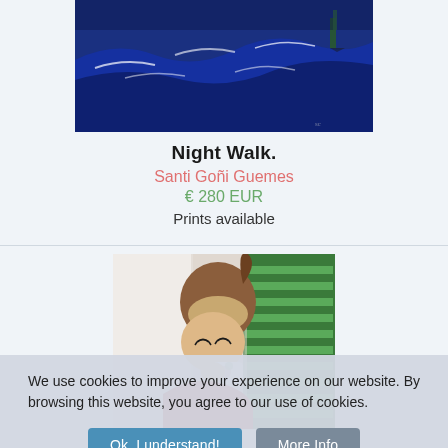[Figure (photo): Painting of a dark ocean night scene with waves and a figure, 'Night Walk' artwork]
Night Walk.
Santi Goñi Guemes
€ 280 EUR
Prints available
[Figure (photo): Painting of a young woman with brown hair in a ponytail, drinking from a floral cup, green shutters in background]
We use cookies to improve your experience on our website. By browsing this website, you agree to our use of cookies.
Ok, I understand!   More Info